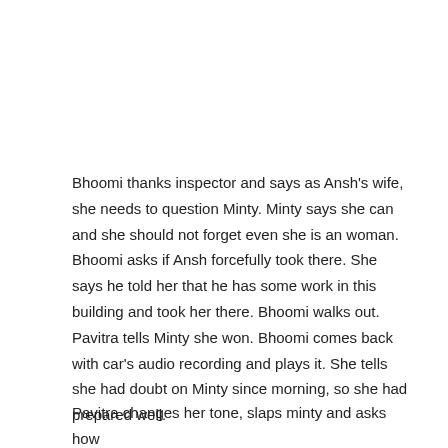Bhoomi thanks inspector and says as Ansh's wife, she needs to question Minty. Minty says she can and she should not forget even she is an woman. Bhoomi asks if Ansh forcefully took there. She says he told her that he has some work in this building and took her there. Bhoomi walks out. Pavitra tells Minty she won. Bhoomi comes back with car's audio recording and plays it. She tells she had doubt on Minty since morning, so she had prepared well.
Pavitra changes her tone, slaps minty and asks how